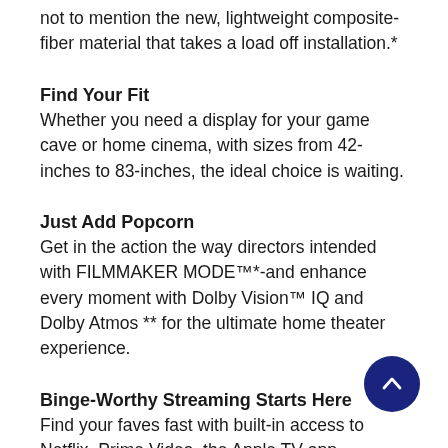not to mention the new, lightweight composite-fiber material that takes a load off installation.*
Find Your Fit
Whether you need a display for your game cave or home cinema, with sizes from 42-inches to 83-inches, the ideal choice is waiting.
Just Add Popcorn
Get in the action the way directors intended with FILMMAKER MODE™*-and enhance every moment with Dolby Vision™ IQ and Dolby Atmos ** for the ultimate home theater experience.
Binge-Worthy Streaming Starts Here
Find your faves fast with built-in access to Netflix, Prime Video, the Apple TV app, Disney+, HBO Max* and instant access to over 300+ free LG Channels** with everything from comedy to